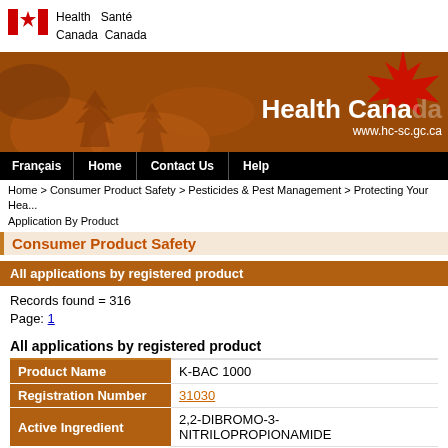[Figure (logo): Health Canada / Santé Canada government logo with Canadian flag icon]
[Figure (illustration): Health Canada website banner with autumn maple leaf motif in orange/brown, Health Canada text and www.hc-sc.gc.ca URL, with red maple leaf graphic top right]
Français | Home | Contact Us | Help
Home > Consumer Product Safety > Pesticides & Pest Management > Protecting Your Hea... Application By Product
Consumer Product Safety
All applications by registered product
Records found = 316
Page: 1
All applications by registered product
| Field | Value |
| --- | --- |
| Product Name | K-BAC 1000 |
| Registration Number | 31030 |
| Active Ingredient | 2,2-DIBROMO-3-NITRILOPROPIONAMIDE |